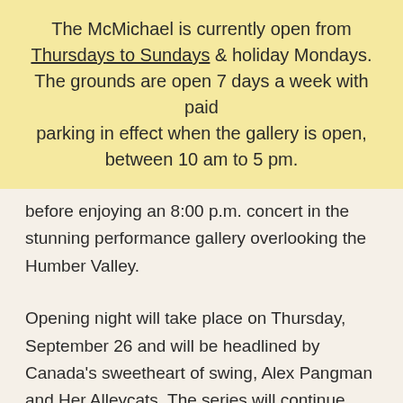The McMichael is currently open from Thursdays to Sundays & holiday Mondays. The grounds are open 7 days a week with paid parking in effect when the gallery is open, between 10 am to 5 pm.
before enjoying an 8:00 p.m. concert in the stunning performance gallery overlooking the Humber Valley.
Opening night will take place on Thursday, September 26 and will be headlined by Canada's sweetheart of swing, Alex Pangman and Her Alleycats. The series will continue with performances by some of Canada's most accomplished musicians and musical protégés, before closing on Halloween night with a concert by guitarist Kevin Laliberté, just days after the release of his new album, One.
The concerts will be hosted by well-known musician writer